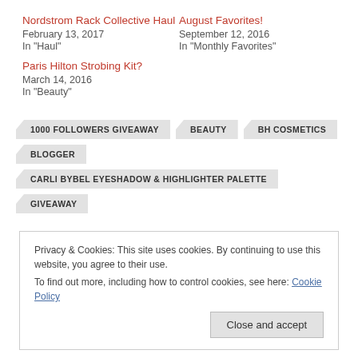Nordstrom Rack Collective Haul
February 13, 2017
In "Haul"
August Favorites!
September 12, 2016
In "Monthly Favorites"
Paris Hilton Strobing Kit?
March 14, 2016
In "Beauty"
1000 FOLLOWERS GIVEAWAY
BEAUTY
BH COSMETICS
BLOGGER
CARLI BYBEL EYESHADOW & HIGHLIGHTER PALETTE
GIVEAWAY
Privacy & Cookies: This site uses cookies. By continuing to use this website, you agree to their use.
To find out more, including how to control cookies, see here: Cookie Policy
Close and accept